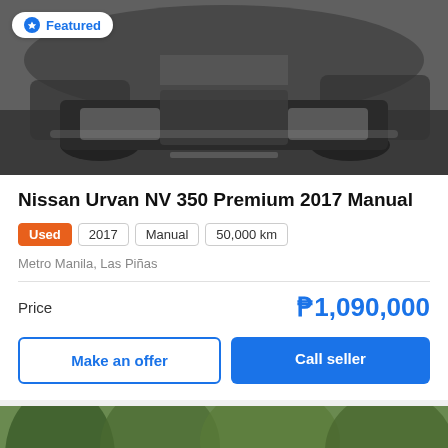[Figure (photo): Front view of a black Nissan Urvan NV 350 van parked, with a 'Featured' badge overlay on the top left]
Nissan Urvan NV 350 Premium 2017 Manual
Used | 2017 | Manual | 50,000 km
Metro Manila, Las Piñas
Price  ₱1,090,000
Make an offer | Call seller
[Figure (photo): Front view of a dark-colored car parked on a street surrounded by trees and greenery, with PHILKOTSE.COM watermark]